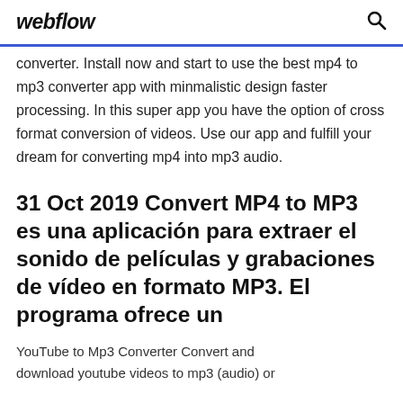webflow [search icon]
converter. Install now and start to use the best mp4 to mp3 converter app with minmalistic design faster processing. In this super app you have the option of cross format conversion of videos. Use our app and fulfill your dream for converting mp4 into mp3 audio.
31 Oct 2019 Convert MP4 to MP3 es una aplicación para extraer el sonido de películas y grabaciones de vídeo en formato MP3. El programa ofrece un
YouTube to Mp3 Converter Convert and download youtube videos to mp3 (audio) or